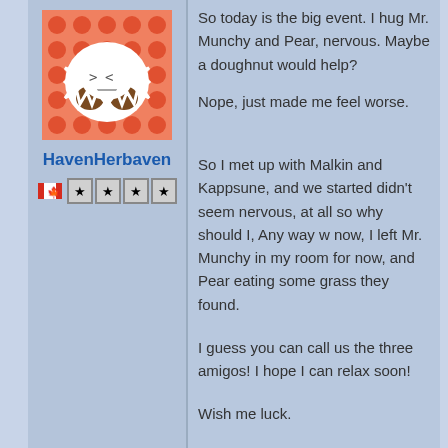[Figure (illustration): Pixel art avatar of a round white fluffy creature with brown accents on a pink polka-dot orange background]
HavenHerbaven
[Figure (illustration): Canadian flag icon followed by four star rating boxes]
So today is the big event. I hug Mr. Munchy and Pear... nervous. Maybe a doughnut would help?
Nope, just made me feel worse.

So I met up with Malkin and Kappsune, and we started... didn't seem nervous, at all so why should I, Any way w... now, I left Mr. Munchy in my room for now, and Pear... eating some grass they found.

I guess you can call us the three amigos! I hope I can relax soon!

Wish me luck.

Herb
[Figure (illustration): Orange polka-dot avatar partially visible at bottom of page]
8/23/2013